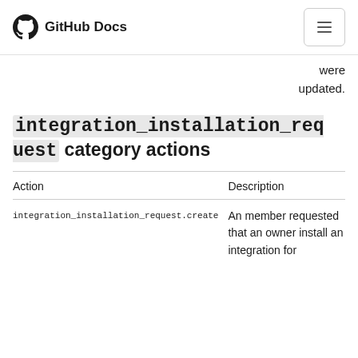GitHub Docs
were updated.
integration_installation_request category actions
| Action | Description |
| --- | --- |
| integration_installation_request.create | An member requested that an owner install an integration for |